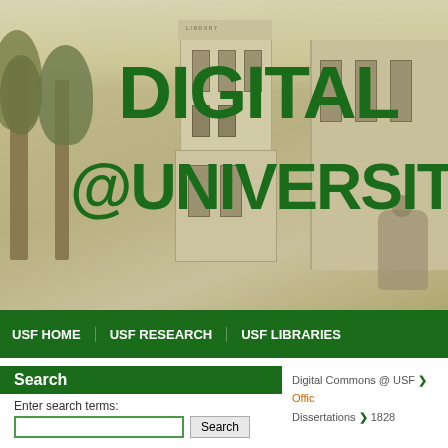[Figure (photo): Sepia-toned photo of a university library building with trees, overlaid with green bold text reading 'DIGITAL @UNIVERSITY']
USF HOME   USF RESEARCH   USF LIBRARIES
Search
Enter search terms:
Digital Commons @ USF > Office ... Dissertations > 1828